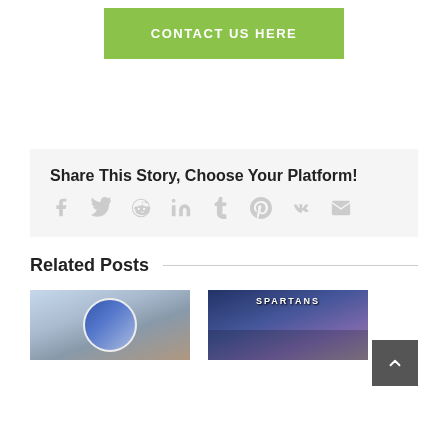CONTACT US HERE
Share This Story, Choose Your Platform!
[Figure (infographic): Social sharing icons: Facebook, Twitter, Reddit, LinkedIn, Tumblr, Pinterest, VK, Email]
Related Posts
[Figure (photo): Thumbnail image of a sports logo or emblem]
[Figure (photo): Thumbnail image with SPARTANS banner text visible]